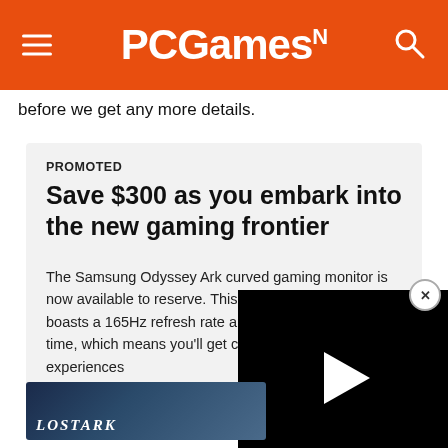PCGamesN
before we get any more details.
PROMOTED
Save $300 as you embark into the new gaming frontier
The Samsung Odyssey Ark curved gaming monitor is now available to reserve. This 4K UHD 55 inch display boasts a 165Hz refresh rate and a 1ms (GTG) response time, which means you'll get clearest gaming experiences
[Figure (screenshot): Video player overlay showing black screen with white play button triangle, overlapping article content. Close button (X) visible in top-right corner of overlay.]
[Figure (screenshot): Lost Ark game image strip at the bottom of the promoted card area, showing fantasy landscape with 'LOSTARK' text overlay.]